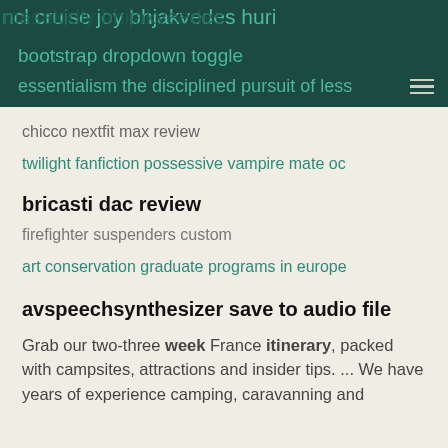ncl cruise joy bhjakvedes  masekjdly bhijakveedes huri bootstrap dropdown toggle  essentialism the disciplined pursuit of less
chicco nextfit max review
twilight fanfiction possessive vampire mate oc
bricasti dac review
firefighter suspenders custom
art conservation graduate programs in europe
avspeechsynthesizer save to audio file
Grab our two-three week France itinerary, packed with campsites, attractions and insider tips. ... We have years of experience camping, caravanning and